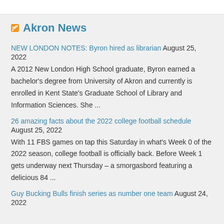Akron News
NEW LONDON NOTES: Byron hired as librarian August 25, 2022
A 2012 New London High School graduate, Byron earned a bachelor's degree from University of Akron and currently is enrolled in Kent State's Graduate School of Library and Information Sciences. She ...
26 amazing facts about the 2022 college football schedule August 25, 2022
With 11 FBS games on tap this Saturday in what's Week 0 of the 2022 season, college football is officially back. Before Week 1 gets underway next Thursday – a smorgasbord featuring a delicious 84 ...
Guy Bucking Bulls finish series as number one team August 24, 2022